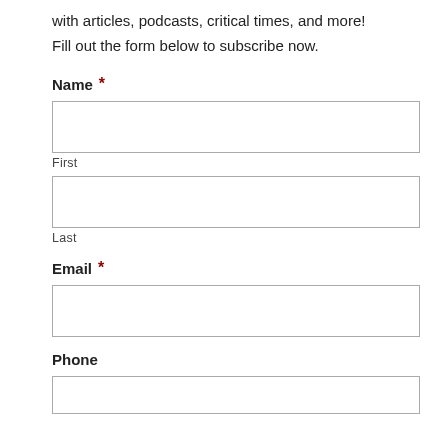with articles, podcasts, critical times, and more!
Fill out the form below to subscribe now.
Name *
First
Last
Email *
Phone